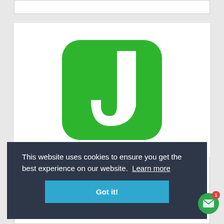[Figure (logo): Green rounded square logo with white letter J - Joist app logo]
This website uses cookies to ensure you get the best experience on our website. Learn more
Got it!
Countertop configurator. Ability to handle complex